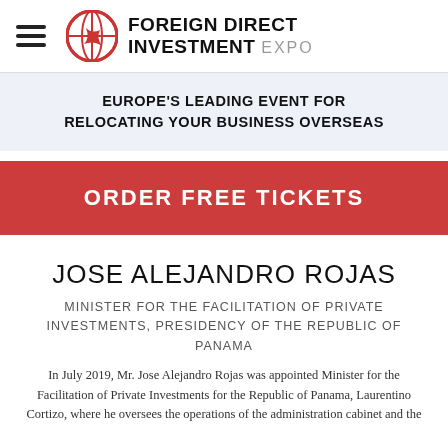FOREIGN DIRECT INVESTMENT EXPO
EUROPE'S LEADING EVENT FOR RELOCATING YOUR BUSINESS OVERSEAS
ORDER FREE TICKETS
JOSE ALEJANDRO ROJAS
MINISTER FOR THE FACILITATION OF PRIVATE INVESTMENTS, PRESIDENCY OF THE REPUBLIC OF PANAMA
In July 2019, Mr. Jose Alejandro Rojas was appointed Minister for the Facilitation of Private Investments for the Republic of Panama, Laurentino Cortizo, where he oversees the operations of the administration cabinet and the